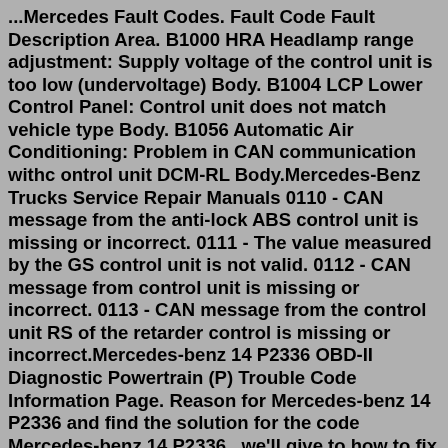...Mercedes Fault Codes. Fault Code Fault Description Area. B1000 HRA Headlamp range adjustment: Supply voltage of the control unit is too low (undervoltage) Body. B1004 LCP Lower Control Panel: Control unit does not match vehicle type Body. B1056 Automatic Air Conditioning: Problem in CAN communication withc ontrol unit DCM-RL Body.Mercedes-Benz Trucks Service Repair Manuals 0110 - CAN message from the anti-lock ABS control unit is missing or incorrect. 0111 - The value measured by the GS control unit is not valid. 0112 - CAN message from control unit is missing or incorrect. 0113 - CAN message from the control unit RS of the retarder control is missing or incorrect.Mercedes-benz 14 P2336 OBD-II Diagnostic Powertrain (P) Trouble Code Information Page. Reason for Mercedes-benz 14 P2336 and find the solution for the code Mercedes-benz 14 P2336 , we'll give to how to fix Mercedes-benz 14 P2336 trouble code problem.1analog codescs1000 code scannerob15-11 dtc readout possible cause of failure 41 22